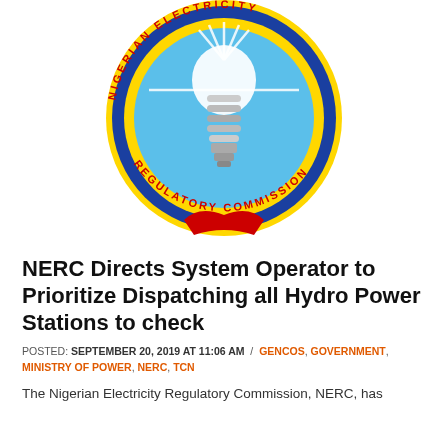[Figure (logo): Nigerian Electricity Regulatory Commission (NERC) circular logo with blue background, yellow ring, red text around the ring, and a white spiral light bulb in the center]
NERC Directs System Operator to Prioritize Dispatching all Hydro Power Stations to check
POSTED: SEPTEMBER 20, 2019 AT 11:06 AM / GENCOS, GOVERNMENT, MINISTRY OF POWER, NERC, TCN
The Nigerian Electricity Regulatory Commission, NERC, has